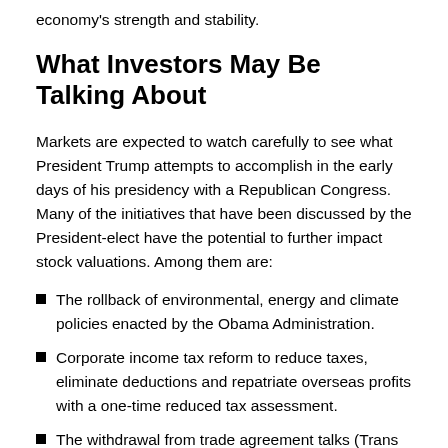economy's strength and stability.
What Investors May Be Talking About
Markets are expected to watch carefully to see what President Trump attempts to accomplish in the early days of his presidency with a Republican Congress. Many of the initiatives that have been discussed by the President-elect have the potential to further impact stock valuations. Among them are:
The rollback of environmental, energy and climate policies enacted by the Obama Administration.
Corporate income tax reform to reduce taxes, eliminate deductions and repatriate overseas profits with a one-time reduced tax assessment.
The withdrawal from trade agreement talks (Trans